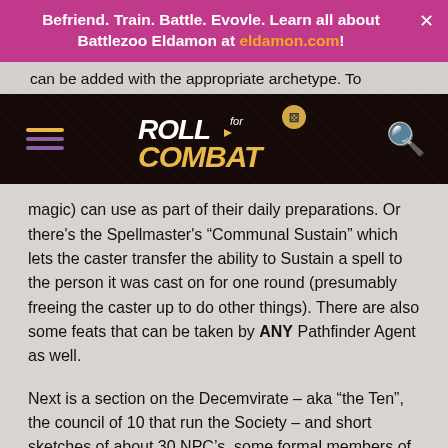Befriend. Train. Battle. Evovle. Learn all about Battlezoo Eldamon at eldamon.com!
can be added with the appropriate archetype. To
[Figure (logo): Roll for Combat logo with hamburger menu and search icon on dark background]
magic) can use as part of their daily preparations. Or there's the Spellmaster's “Communal Sustain” which lets the caster transfer the ability to Sustain a spell to the person it was cast on for one round (presumably freeing the caster up to do other things). There are also some feats that can be taken by ANY Pathfinder Agent as well.
Next is a section on the Decemvirate – aka “the Ten”, the council of 10 that run the Society – and short sketches of about 30 NPC’s, some formal members of the Society, others just powerful